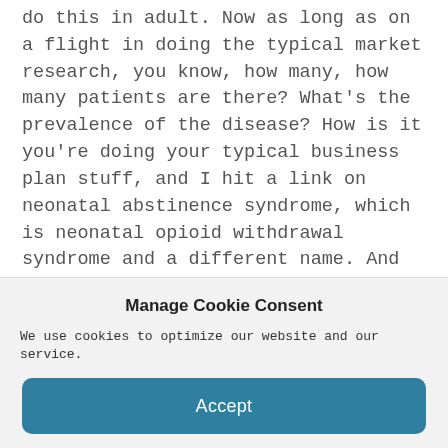do this in adult. Now as long as on a flight in doing the typical market research, you know, how many, how many patients are there? What's the prevalence of the disease? How is it you're doing your typical business plan stuff, and I hit a link on neonatal abstinence syndrome, which is neonatal opioid withdrawal syndrome and a different name. And which I can't remember how I streamed a video on a Southwest flight. But somehow I got the video to come through. And I saw this baby going
Manage Cookie Consent
We use cookies to optimize our website and our service.
Accept